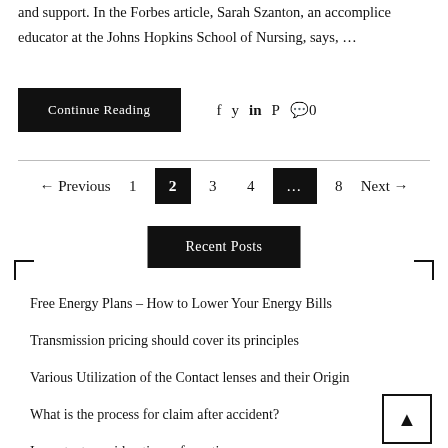and support. In the Forbes article, Sarah Szanton, an accomplice educator at the Johns Hopkins School of Nursing, says, …
Continue Reading
Free Energy Plans – How to Lower Your Energy Bills
Transmission pricing should cover its principles
Various Utilization of the Contact lenses and their Origin
What is the process for claim after accident?
Important considerations of meeting room